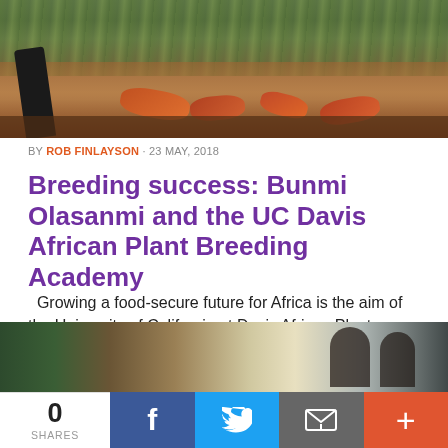[Figure (photo): Close-up photo of plant roots or tubers on soil with green foliage in background]
BY ROB FINLAYSON · 23 MAY, 2018
Breeding success: Bunmi Olasanmi and the UC Davis African Plant Breeding Academy
Growing a food-secure future for Africa is the aim of the University of California at Davis African Plant Breeding Academy. Bunmi Olasanmi is the first in a series of success stories.  By Bunmi Olasanmi  I...
[Figure (photo): Bottom photo showing people in a room, partially visible]
[Figure (infographic): Share bar with count 0 SHARES, Facebook, Twitter, Email, and More buttons]